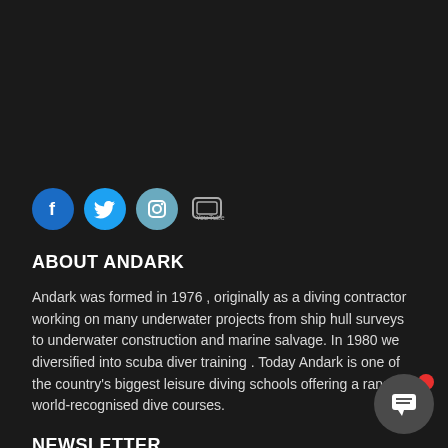[Figure (other): Social media icons row: Facebook (blue circle with f), Twitter (light blue circle with bird), Instagram (teal circle with camera), YouTube (small icon)]
ABOUT ANDARK
Andark was formed in 1976 , originally as a diving contractor working on many underwater projects from ship hull surveys to underwater construction and marine salvage. In 1980 we diversified into scuba diver training . Today Andark is one of the country's biggest leisure diving schools offering a range of world-recognised dive courses.
NEWSLETTER
Sign up to our Newsletter and get 5% off your first order!